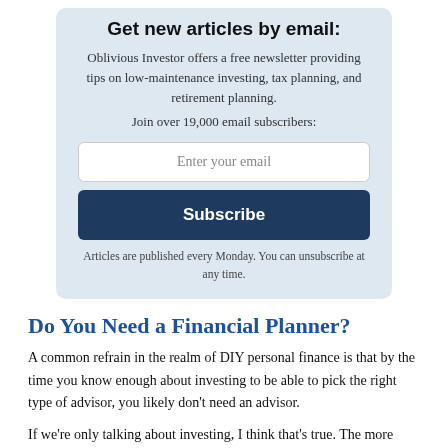Get new articles by email:
Oblivious Investor offers a free newsletter providing tips on low-maintenance investing, tax planning, and retirement planning.
Join over 19,000 email subscribers:
Enter your email
Subscribe
Articles are published every Monday. You can unsubscribe at any time.
Do You Need a Financial Planner?
A common refrain in the realm of DIY personal finance is that by the time you know enough about investing to be able to pick the right type of advisor, you likely don’t need an advisor.
If we’re only talking about investing, I think that’s true. The more